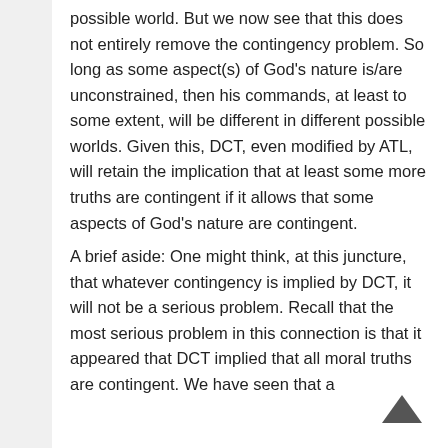possible world. But we now see that this does not entirely remove the contingency problem. So long as some aspect(s) of God's nature is/are unconstrained, then his commands, at least to some extent, will be different in different possible worlds. Given this, DCT, even modified by ATL, will retain the implication that at least some more truths are contingent if it allows that some aspects of God's nature are contingent.
A brief aside: One might think, at this juncture, that whatever contingency is implied by DCT, it will not be a serious problem. Recall that the most serious problem in this connection is that it appeared that DCT implied that all moral truths are contingent. We have seen that a